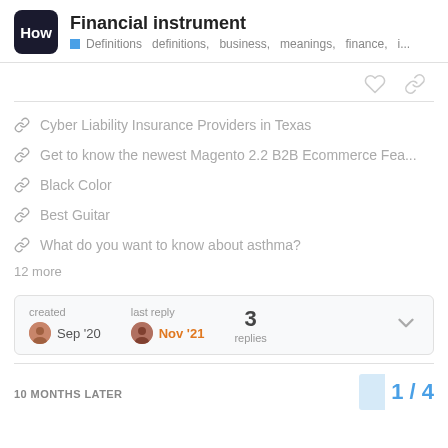How — Financial instrument — Definitions definitions, business, meanings, finance, i...
Cyber Liability Insurance Providers in Texas
Get to know the newest Magento 2.2 B2B Ecommerce Fea...
Black Color
Best Guitar
What do you want to know about asthma?
12 more
| created | last reply | replies |
| --- | --- | --- |
| Sep '20 | Nov '21 | 3 |
10 MONTHS LATER
1 / 4